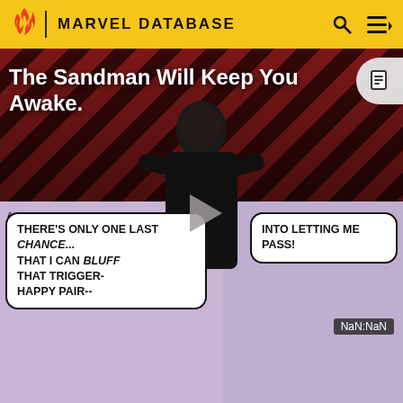MARVEL DATABASE
[Figure (screenshot): Video thumbnail for 'The Sandman Will Keep You Awake' with a dark figure silhouette against diagonal red/dark stripes, play button in center, 'THE LOOP' text watermark, and NaN:NaN time display]
[Figure (illustration): Comic book panel showing Ghost Rider character with speech bubbles: left bubble reads 'THERE'S ONLY ONE LAST CHANCE... THAT I CAN BLUFF THAT TRIGGER-HAPPY PAIR--' and right bubble reads 'INTO LETTING ME PASS!']